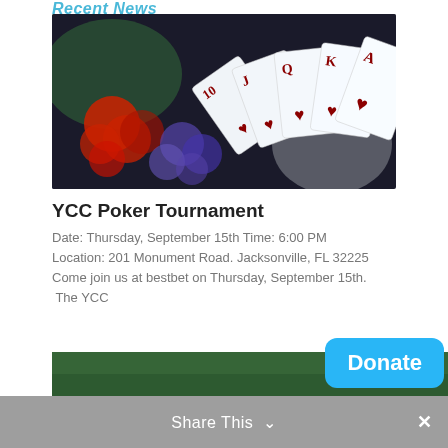Recent News
[Figure (photo): Photo of playing cards (royal flush in hearts: 10, J, Q, K, A) fanned out on a surface with poker chips in the background. Dark background with blurred chips on the left and bright cards on the right.]
YCC Poker Tournament
Date: Thursday, September 15th Time: 6:00 PM
Location: 201 Monument Road. Jacksonville, FL 32225
Come join us at bestbet on Thursday, September 15th. The YCC
Read More »
[Figure (photo): Partial view of a green surface (likely a poker/pool table felt) at the bottom of the page.]
Donate
Share This ∨